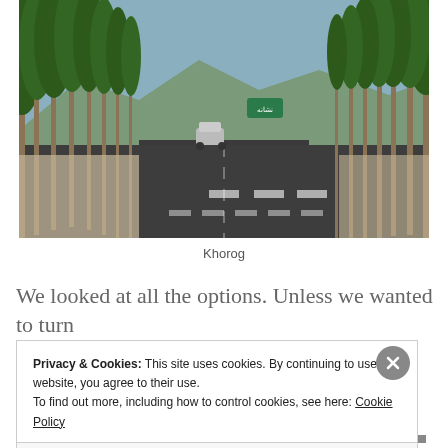[Figure (photo): A wide road lined with tall trees on both sides, a car in the distance, mountains in background, a blue road sign visible, taken in Khorog]
Khorog
We looked at all the options. Unless we wanted to turn
Privacy & Cookies: This site uses cookies. By continuing to use this website, you agree to their use.
To find out more, including how to control cookies, see here: Cookie Policy
Close and accept